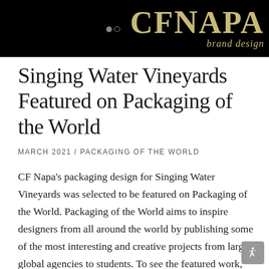CF Napa brand design
Singing Water Vineyards Featured on Packaging of the World
MARCH 2021 / PACKAGING OF THE WORLD
CF Napa's packaging design for Singing Water Vineyards was selected to be featured on Packaging of the World. Packaging of the World aims to inspire designers from all around the world by publishing some of the most interesting and creative projects from large global agencies to students. To see the featured work, click here.